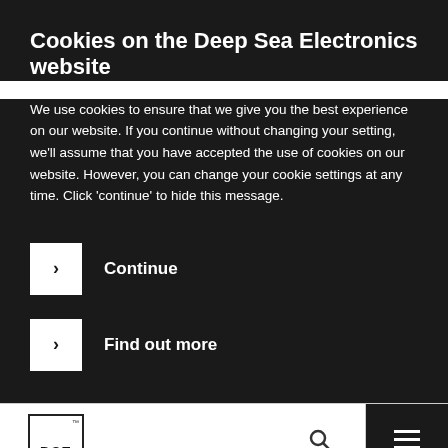Cookies on the Deep Sea Electronics website
We use cookies to ensure that we give you the best experience on our website. If you continue without changing your setting, we'll assume that you have accepted the use of cookies on our website. However, you can change your cookie settings at any time. Click 'continue' to hide this message.
Continue
Find out more
[Figure (logo): Deep Sea Electronics DSE logo — square border with 'DSE' text inside]
Automatic Transfer Switch Control Modules